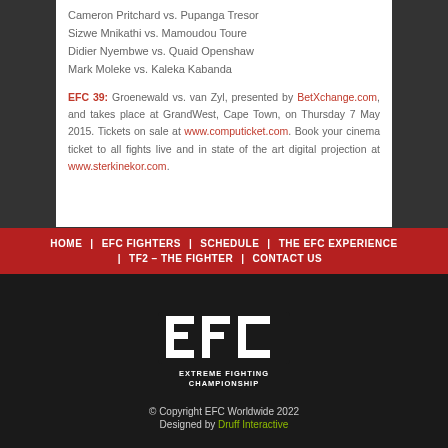Cameron Pritchard vs. Pupanga Tresor
Sizwe Mnikathi vs. Mamoudou Toure
Didier Nyembwe vs. Quaid Openshaw
Mark Moleke vs. Kaleka Kabanda
EFC 39: Groenewald vs. van Zyl, presented by BetXchange.com, and takes place at GrandWest, Cape Town, on Thursday 7 May 2015. Tickets on sale at www.computicket.com. Book your cinema ticket to all fights live and in state of the art digital projection at www.sterkinekor.com.
HOME | EFC FIGHTERS | SCHEDULE | THE EFC EXPERIENCE | TF2 – THE FIGHTER | CONTACT US
[Figure (logo): EFC Extreme Fighting Championship logo in white on dark background]
© Copyright EFC Worldwide 2022
Designed by Druff Interactive